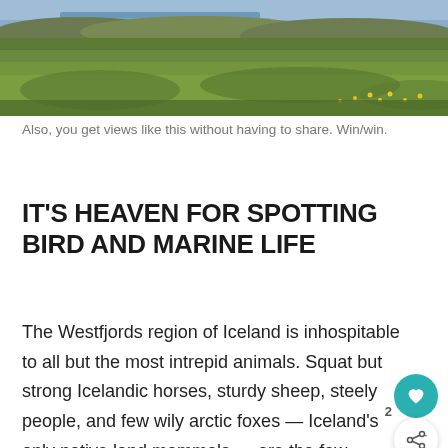[Figure (photo): Wide landscape photo of green grassy Icelandic terrain with a river or fjord and hills in the background under overcast sky]
Also, you get views like this without having to share. Win/win.
IT'S HEAVEN FOR SPOTTING BIRD AND MARINE LIFE
The Westfjords region of Iceland is inhospitable to all but the most intrepid animals. Squat but strong Icelandic horses, sturdy sheep, steely people, and few wily arctic foxes — Iceland's only native land mammals — are the few